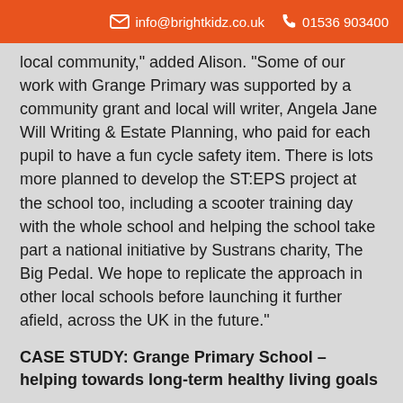info@brightkidz.co.uk  01536 903400
local community,” added Alison. “Some of our work with Grange Primary was supported by a community grant and local will writer, Angela Jane Will Writing & Estate Planning, who paid for each pupil to have a fun cycle safety item. There is lots more planned to develop the ST:EPS project at the school too, including a scooter training day with the whole school and helping the school take part a national initiative by Sustrans charity, The Big Pedal. We hope to replicate the approach in other local schools before launching it further afield, across the UK in the future.”
CASE STUDY: Grange Primary School – helping towards long-term healthy living goals
The ST:EPS project at Grange Primary is ongoing and